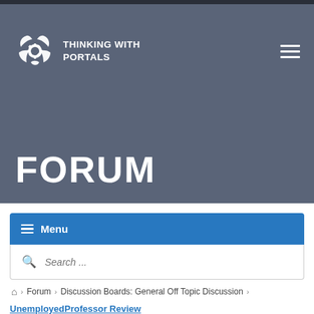THINKING WITH PORTALS
FORUM
≡ Menu
Search ...
⌂ Forum › Discussion Boards: General Off Topic Discussion ›
UnemployedProfessor Review